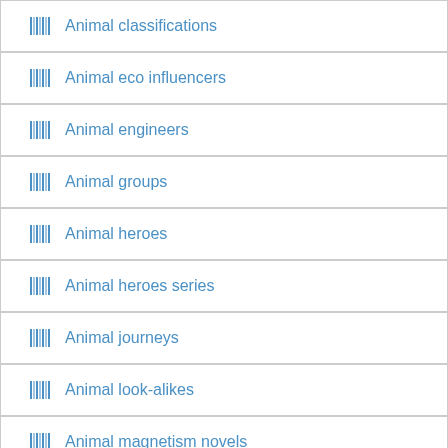Animal classifications
Animal eco influencers
Animal engineers
Animal groups
Animal heroes
Animal heroes series
Animal journeys
Animal look-alikes
Animal magnetism novels
Animal magnetism novels, bk. 7
Animal magnetism series